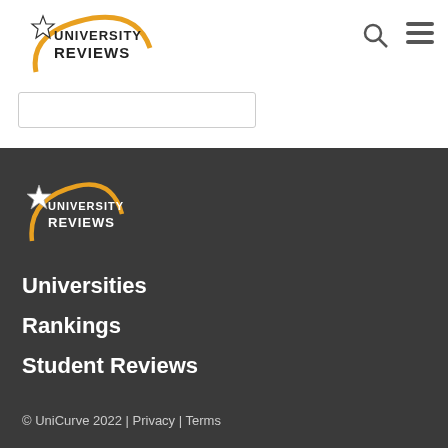[Figure (logo): University Reviews logo with star and arc motif, dark text on white background]
Universities  Rankings  Student Reviews
[Figure (logo): University Reviews footer logo with star and arc motif, white text on dark background]
Universities
Rankings
Student Reviews
© UniCurve 2022 | Privacy | Terms